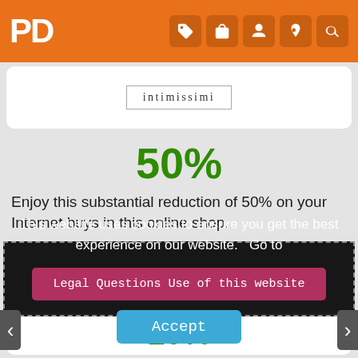PD
[Figure (logo): Intimissimi brand logo in a bordered box]
50%
Enjoy this substantial reduction of 50% on your Internet buys in this online shop.
This website uses cookies to ensure you get the best experience on our website.   Go to
Legal Questions Use of this website
Accept
10%